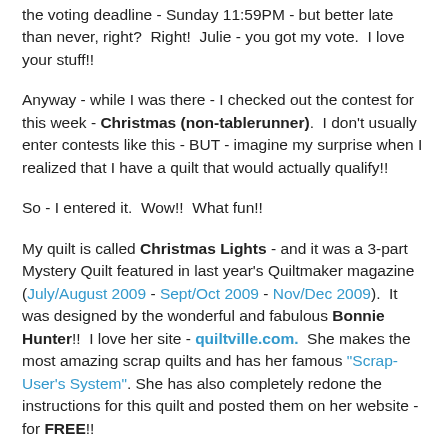the voting deadline - Sunday 11:59PM - but better late than never, right?  Right!  Julie - you got my vote.  I love your stuff!!
Anyway - while I was there - I checked out the contest for this week - Christmas (non-tablerunner).  I don't usually enter contests like this - BUT - imagine my surprise when I realized that I have a quilt that would actually qualify!!
So - I entered it.  Wow!!  What fun!!
My quilt is called Christmas Lights - and it was a 3-part Mystery Quilt featured in last year's Quiltmaker magazine (July/August 2009 - Sept/Oct 2009 - Nov/Dec 2009).  It was designed by the wonderful and fabulous Bonnie Hunter!!  I love her site - quiltville.com.  She makes the most amazing scrap quilts and has her famous "Scrap-User's System".  She has also completely redone the instructions for this quilt and posted them on her website - for FREE!!
[Figure (photo): Partial view of a quilt with dark blue/navy fabric visible at the bottom of the page]